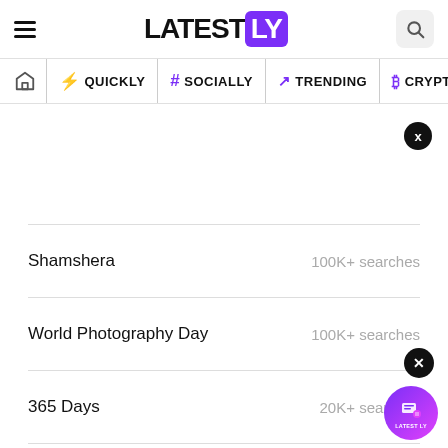LATESTLY
QUICKLY | # SOCIALLY | TRENDING | CRYPTO
Shamshera — 100K+ searches
World Photography Day — 100K+ searches
365 Days — 20K+ searches
Manish Sisodia — 20K+ searches